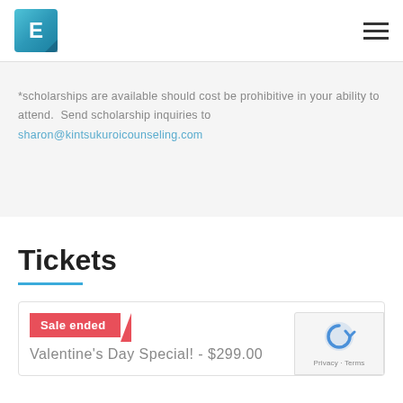E [logo] [hamburger menu]
*scholarships are available should cost be prohibitive in your ability to attend. Send scholarship inquiries to sharon@kintsukuroicounseling.com
Tickets
Sale ended
Valentine's Day Special! - $299.00